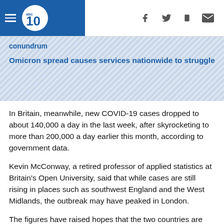abc10 [navigation bar with social icons]
conundrum
Omicron spread causes services nationwide to struggle
In Britain, meanwhile, new COVID-19 cases dropped to about 140,000 a day in the last week, after skyrocketing to more than 200,000 a day earlier this month, according to government data.
Kevin McConway, a retired professor of applied statistics at Britain's Open University, said that while cases are still rising in places such as southwest England and the West Midlands, the outbreak may have peaked in London.
The figures have raised hopes that the two countries are about to witness what happened in South Africa, where the wave crested at record highs and then fell significantly about a month later.